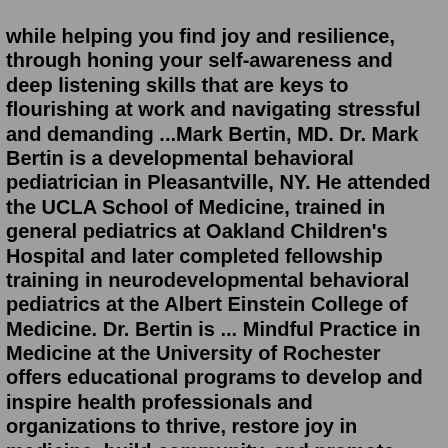while helping you find joy and resilience, through honing your self-awareness and deep listening skills that are keys to flourishing at work and navigating stressful and demanding ...Mark Bertin, MD. Dr. Mark Bertin is a developmental behavioral pediatrician in Pleasantville, NY. He attended the UCLA School of Medicine, trained in general pediatrics at Oakland Children's Hospital and later completed fellowship training in neurodevelopmental behavioral pediatrics at the Albert Einstein College of Medicine. Dr. Bertin is ... Mindful Practice in Medicine at the University of Rochester offers educational programs to develop and inspire health professionals and organizations to thrive, restore joy in medicine, build community, and promote excellence in healthcare. We teach health professionals the skills to be present, attentive, and curious, and to adopt a ...Dr. Debora Tallio has been a physician for 30 years and remains passionate about helping others achieve optimal health. She is board certified in Lifestyle Medicine and Physical Medicine